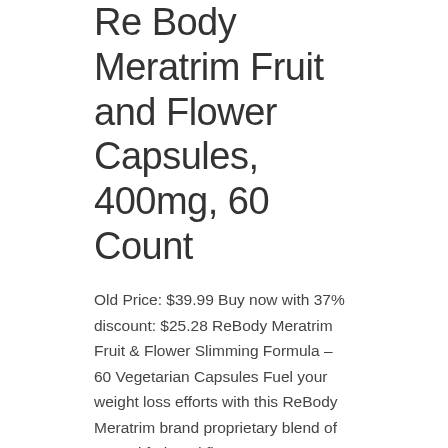Re Body Meratrim Fruit and Flower Capsules, 400mg, 60 Count
Old Price: $39.99 Buy now with 37% discount: $25.28 ReBody Meratrim Fruit & Flower Slimming Formula – 60 Vegetarian Capsules Fuel your weight loss efforts with this ReBody Meratrim brand proprietary blend of natural fruit and flower extracts. ReBody Meratrim is a non-stimulant formula that offers 800 mg. of Meratrim per day, shown in clinical… Read More »
Category: Uncategorized Tags: 400mg , Capsules , Flower , Fruit , meratrim , re-body
New Study Links Insomnia Drug to Alzheimer's: 100%